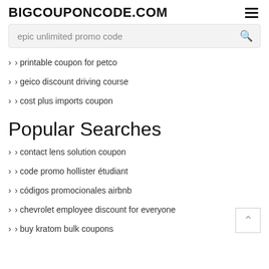BIGCOUPONCODE.COM
epic unlimited promo code
› printable coupon for petco
› geico discount driving course
› cost plus imports coupon
Popular Searches
› contact lens solution coupon
› code promo hollister étudiant
› códigos promocionales airbnb
› chevrolet employee discount for everyone
› buy kratom bulk coupons